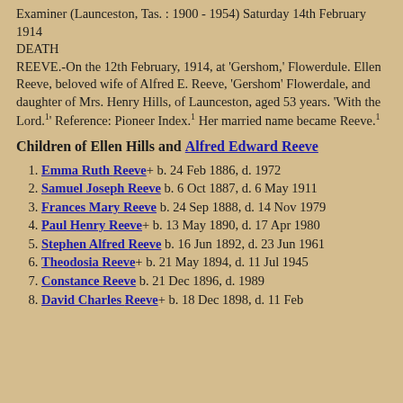Examiner (Launceston, Tas. : 1900 - 1954) Saturday 14th February 1914
DEATH
REEVE.-On the 12th February, 1914, at 'Gershom,' Flowerdule. Ellen Reeve, beloved wife of Alfred E. Reeve, 'Gershom' Flowerdale, and daughter of Mrs. Henry Hills, of Launceston, aged 53 years. 'With the Lord.1' Reference: Pioneer Index.1 Her married name became Reeve.1
Children of Ellen Hills and Alfred Edward Reeve
Emma Ruth Reeve+ b. 24 Feb 1886, d. 1972
Samuel Joseph Reeve b. 6 Oct 1887, d. 6 May 1911
Frances Mary Reeve b. 24 Sep 1888, d. 14 Nov 1979
Paul Henry Reeve+ b. 13 May 1890, d. 17 Apr 1980
Stephen Alfred Reeve b. 16 Jun 1892, d. 23 Jun 1961
Theodosia Reeve+ b. 21 May 1894, d. 11 Jul 1945
Constance Reeve b. 21 Dec 1896, d. 1989
David Charles Reeve+ b. 18 Dec 1898, d. 11 Feb